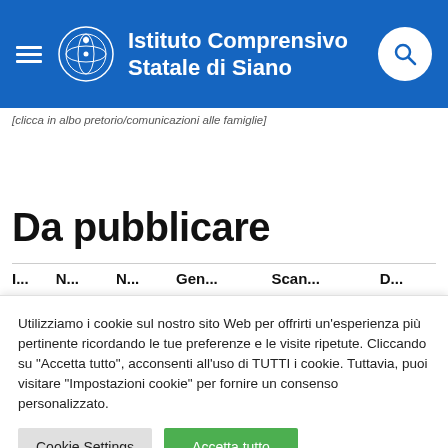Istituto Comprensivo Statale di Siano
[clicca in albo pretorio/comunicazioni alle famiglie]
Da pubblicare
Utilizziamo i cookie sul nostro sito Web per offrirti un'esperienza più pertinente ricordando le tue preferenze e le visite ripetute. Cliccando su "Accetta tutto", acconsenti all'uso di TUTTI i cookie. Tuttavia, puoi visitare "Impostazioni cookie" per fornire un consenso personalizzato.
Cookie Settings  Accetta tutto